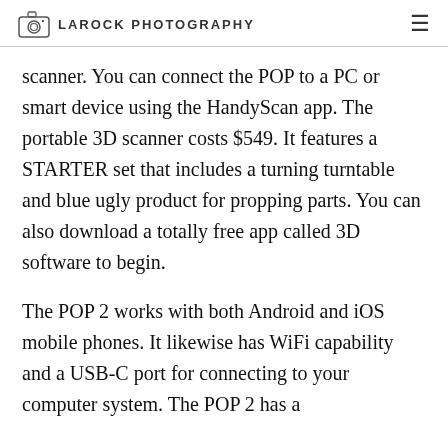LAROCK PHOTOGRAPHY
scanner. You can connect the POP to a PC or smart device using the HandyScan app. The portable 3D scanner costs $549. It features a STARTER set that includes a turning turntable and blue ugly product for propping parts. You can also download a totally free app called 3D software to begin.
The POP 2 works with both Android and iOS mobile phones. It likewise has WiFi capability and a USB-C port for connecting to your computer system. The POP 2 has a